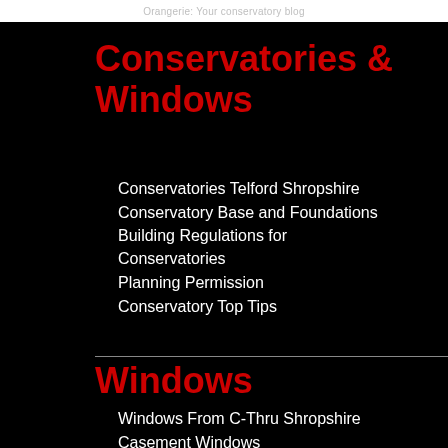Orangerie: Your conservatory blog
Conservatories & Windows
Conservatories Telford Shropshire
Conservatory Base and Foundations
Building Regulations for Conservatories
Planning Permission
Conservatory Top Tips
Windows
Windows From C-Thru Shropshire
Casement Windows
Secondary Glazing
Tilt and Turn
Vertical Sliding Sash Window